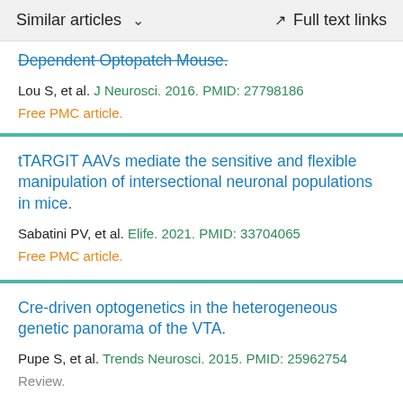Similar articles   ∨   Full text links
Dependent Optopatch Mouse.
Lou S, et al. J Neurosci. 2016. PMID: 27798186
Free PMC article.
tTARGIT AAVs mediate the sensitive and flexible manipulation of intersectional neuronal populations in mice.
Sabatini PV, et al. Elife. 2021. PMID: 33704065
Free PMC article.
Cre-driven optogenetics in the heterogeneous genetic panorama of the VTA.
Pupe S, et al. Trends Neurosci. 2015. PMID: 25962754
Review.